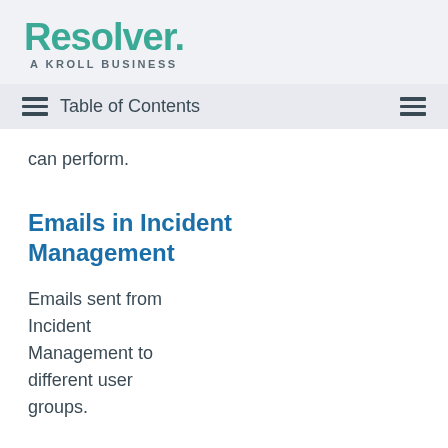Resolver. A KROLL BUSINESS
Table of Contents
can perform.
Emails in Incident Management
Emails sent from Incident Management to different user groups.